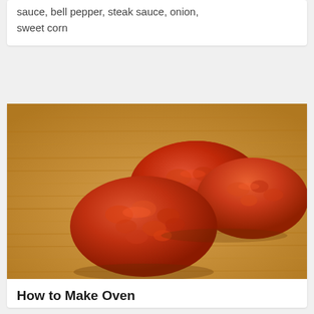sauce, bell pepper, steak sauce, onion, sweet corn
[Figure (photo): Three oven-baked meat patties with a red/orange sauce coating, served on a wooden board surface]
How to Make Oven